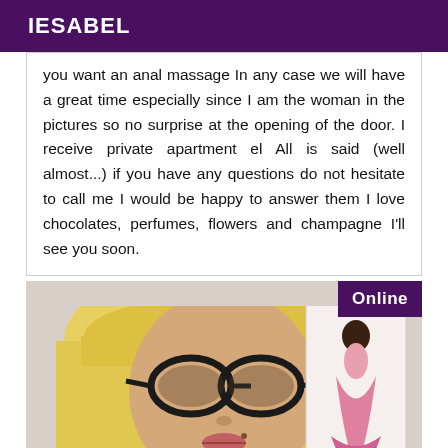IESABEL
you want an anal massage In any case we will have a great time especially since I am the woman in the pictures so no surprise at the opening of the door. I receive private apartment el All is said (well almost...) if you have any questions do not hesitate to call me I would be happy to answer them I love chocolates, perfumes, flowers and champagne I'll see you soon.
[Figure (photo): Close-up photo of a blonde woman with glasses and bangs, with a painting of a woman in a pink dress visible in the background. An 'Online' badge appears in the top right corner.]